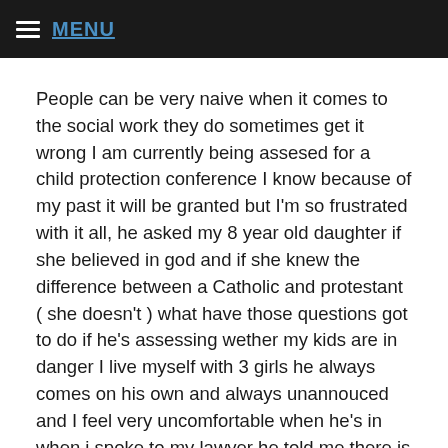MENU
People can be very naive when it comes to the social work they do sometimes get it wrong I am currently being assesed for a child protection conference I know because of my past it will be granted but I'm so frustrated with it all, he asked my 8 year old daughter if she believed in god and if she knew the difference between a Catholic and protestant ( she doesn't ) what have those questions got to do if he's assessing wether my kids are in danger I live myself with 3 girls he always comes on his own and always unannouced and I feel very uncomfortable when he's in when i spoke to my lawyer he told me there is absolutely no reason for them to be in our lives they are never off school the house is spotless my kids are always clean happy and healthy, every time he tells me he read something in the notes that i know for a fact has never happened please can anyone give me any advice as its really affecting my kids and myself.